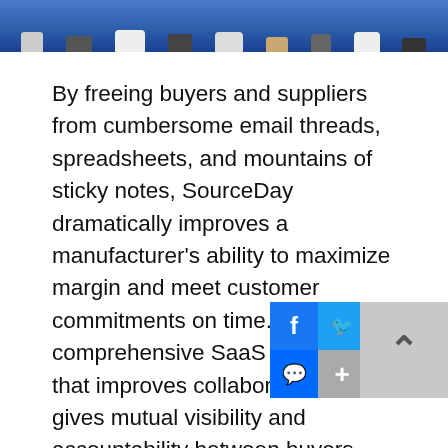[Figure (photo): Top portion of a photo showing feet/shoes of a group of people standing together, cropped to just the lower legs and feet area, with a blue-toned background.]
By freeing buyers and suppliers from cumbersome email threads, spreadsheets, and mountains of sticky notes, SourceDay dramatically improves a manufacturer's ability to maximize margin and meet customer commitments on time. With a comprehensive SaaS platform that improves collaboration and gives mutual visibility and accountability between buyers and suppliers, SourceDay automates purchase order (PO), request for quote (RFQ) and accounts payable (AP) processes. By seamlessly integrating with all major Enterprise Resource Planning (ERP) systems, the SourceDay platform extends the ERP and ultimately improves business performance.